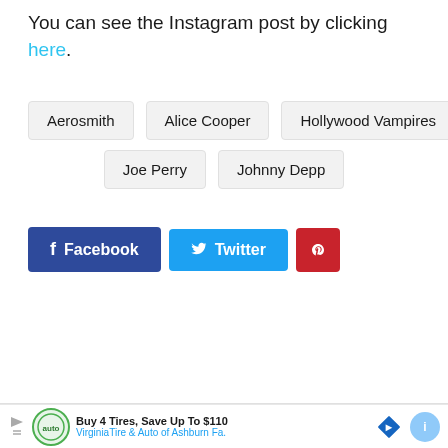You can see the Instagram post by clicking here.
Aerosmith
Alice Cooper
Hollywood Vampires
Joe Perry
Johnny Depp
[Figure (other): Social share buttons: Facebook, Twitter, Pinterest]
[Figure (other): Advertisement bar: Buy 4 Tires, Save Up To $110 - VirginiaTire & Auto of Ashburn Fa.]